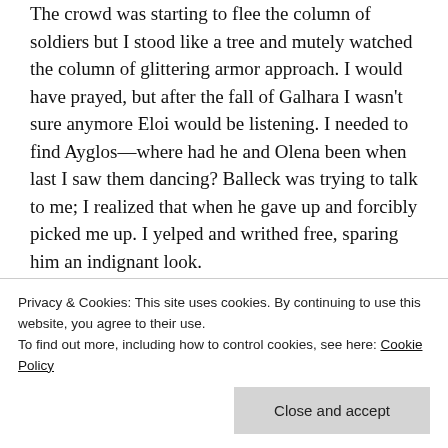The crowd was starting to flee the column of soldiers but I stood like a tree and mutely watched the column of glittering armor approach. I would have prayed, but after the fall of Galhara I wasn't sure anymore Eloi would be listening. I needed to find Ayglos—where had he and Olena been when last I saw them dancing? Balleck was trying to talk to me; I realized that when he gave up and forcibly picked me up. I yelped and writhed free, sparing him an indignant look.
“We have to go,” he said firmly, grabbing my arm and towing me toward the edge of the square
square and down an alley. The column of soldiers
Privacy & Cookies: This site uses cookies. By continuing to use this website, you agree to their use.
To find out more, including how to control cookies, see here: Cookie Policy